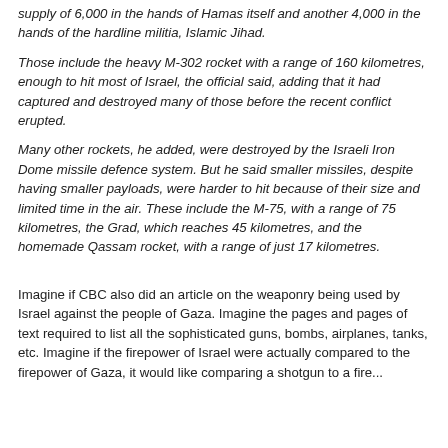supply of 6,000 in the hands of Hamas itself and another 4,000 in the hands of the hardline militia, Islamic Jihad.
Those include the heavy M-302 rocket with a range of 160 kilometres, enough to hit most of Israel, the official said, adding that it had captured and destroyed many of those before the recent conflict erupted.
Many other rockets, he added, were destroyed by the Israeli Iron Dome missile defence system. But he said smaller missiles, despite having smaller payloads, were harder to hit because of their size and limited time in the air. These include the M-75, with a range of 75 kilometres, the Grad, which reaches 45 kilometres, and the homemade Qassam rocket, with a range of just 17 kilometres.
Imagine if CBC also did an article on the weaponry being used by Israel against the people of Gaza. Imagine the pages and pages of text required to list all the sophisticated guns, bombs, airplanes, tanks, etc. Imagine if the firepower of Israel were actually compared to the firepower of Gaza, it would be like comparing a shotgun to a fire...